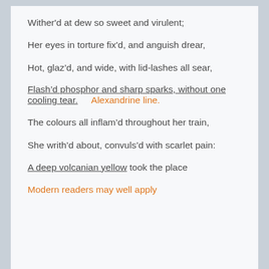Wither'd at dew so sweet and virulent;
Her eyes in torture fix'd, and anguish drear,
Hot, glaz'd, and wide, with lid-lashes all sear,
Flash'd phosphor and sharp sparks, without one cooling tear.    Alexandrine line.
The colours all inflam'd throughout her train,
She writh'd about, convuls'd with scarlet pain:
A deep volcanian yellow took the place
Modern readers may well apply